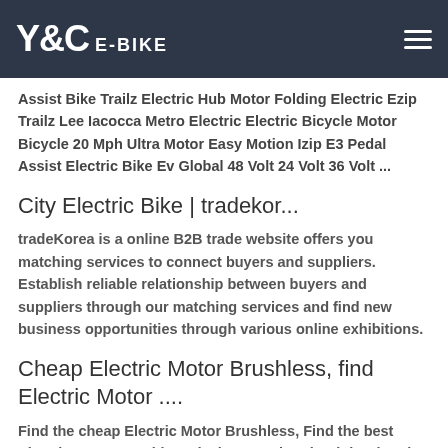Y&C E-BIKE
Assist Bike Trailz Electric Hub Motor Folding Electric Ezip Trailz Lee Iacocca Metro Electric Electric Bicycle Motor Bicycle 20 Mph Ultra Motor Easy Motion Izip E3 Pedal Assist Electric Bike Ev Global 48 Volt 24 Volt 36 Volt ...
City Electric Bike | tradekor...
tradeKorea is a online B2B trade website offers you matching services to connect buyers and suppliers. Establish reliable relationship between buyers and suppliers through our matching services and find new business opportunities through various online exhibitions.
Cheap Electric Motor Brushless, find Electric Motor ....
Find the cheap Electric Motor Brushless, Find the best Electric Motor Brushless deals, Sourcing the right Electric Motor Brushless supplier can be time-consuming and